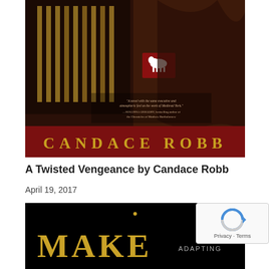[Figure (photo): Book cover of 'A Twisted Vengeance' by Candace Robb, showing a dark medieval street scene with a white horse on a red sign, author name in gold letters on dark red background at bottom]
A Twisted Vengeance by Candace Robb
April 19, 2017
[Figure (photo): Bottom portion of another book cover showing dark/black background with gold letters spelling MAKE and text ADAPTING on the right side with a small gold star/dot above]